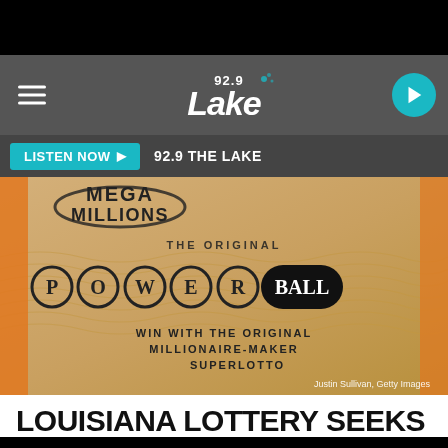[Figure (screenshot): Radio station website screenshot showing 92.9 The Lake station header with hamburger menu, logo, and play button]
[Figure (photo): Close-up photo of Mega Millions and Powerball lottery tickets. Text reads: MEGA MILLIONS, THE ORIGINAL, POWERBALL, WIN WITH THE ORIGINAL MILLIONAIRE-MAKER, SUPERLOTTO PLUS. Photo credit: Justin Sullivan, Getty Images]
LOUISIANA LOTTERY SEEKS